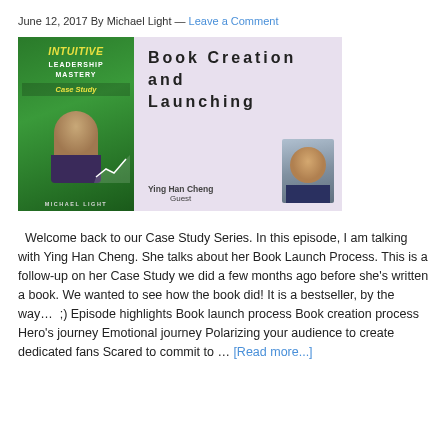June 12, 2017 By Michael Light — Leave a Comment
[Figure (illustration): Composite image showing 'Intuitive Leadership Mastery Case Study' book cover on the left with green background, and a lavender panel on the right titled 'Book Creation and Launching' with guest Ying Han Cheng and her photo.]
Welcome back to our Case Study Series. In this episode, I am talking with Ying Han Cheng. She talks about her Book Launch Process. This is a follow-up on her Case Study we did a few months ago before she's written a book. We wanted to see how the book did! It is a bestseller, by the way...  ;) Episode highlights Book launch process Book creation process Hero's journey Emotional journey Polarizing your audience to create dedicated fans Scared to commit to ... [Read more...]